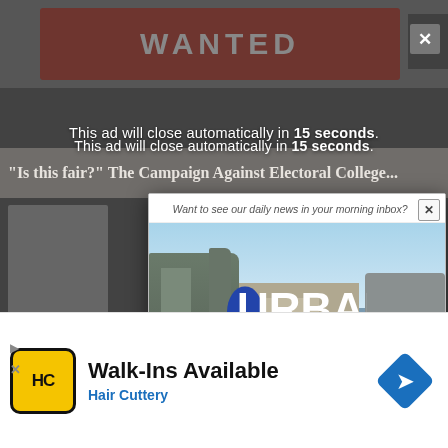[Figure (screenshot): Background website page showing a 'WANTED' banner image at the top, partially visible article headline about Electoral College, and State/Redistricting article below. The background is dimmed by a dark overlay.]
This ad will close automatically in 15 seconds.
[Figure (screenshot): Urban Milwaukee email subscription popup modal with close X button, city skyline photo with Urban Milwaukee logo overlay, and 'Click here to subscribe today!' call-to-action button.]
Want to see our daily news in your morning inbox?
Click here to subscribe today!
[Figure (screenshot): Bottom banner advertisement for Hair Cuttery showing HC logo icon, 'Walk-Ins Available' headline, 'Hair Cuttery' in blue, and a blue navigation diamond icon on the right.]
Walk-Ins Available
Hair Cuttery